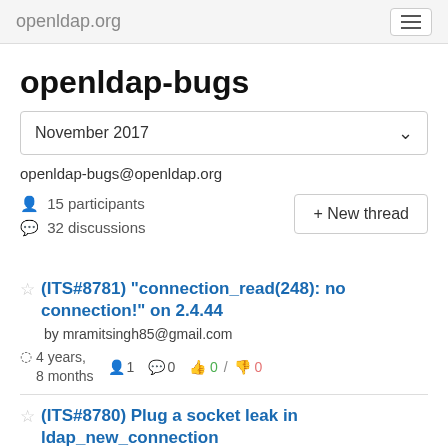openldap.org
openldap-bugs
November 2017
openldap-bugs@openldap.org
15 participants
32 discussions
(ITS#8781) "connection_read(248): no connection!" on 2.4.44
by mramitsingh85@gmail.com
4 years, 8 months | 1 | 0 | 0 / 0
(ITS#8780) Plug a socket leak in ldap_new_connection ...